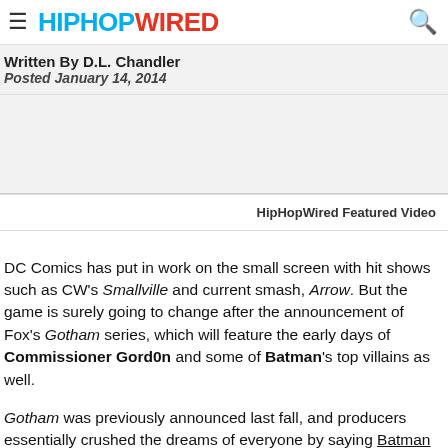≡ HIPHOPWIRED 🔍
Written By D.L. Chandler
Posted January 14, 2014
[Figure (other): Advertisement/blank gray area]
HipHopWired Featured Video
DC Comics has put in work on the small screen with hit shows such as CW's Smallville and current smash, Arrow. But the game is surely going to change after the announcement of Fox's Gotham series, which will feature the early days of Commissioner Gord0n and some of Batman's top villains as well.
Gotham was previously announced last fall, and producers essentially crushed the dreams of everyone by saying Batman will not be featured in the program according to an exclusive report from